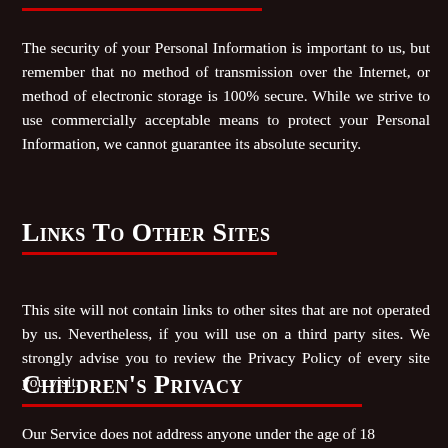The security of your Personal Information is important to us, but remember that no method of transmission over the Internet, or method of electronic storage is 100% secure. While we strive to use commercially acceptable means to protect your Personal Information, we cannot guarantee its absolute security.
Links To Other Sites
This site will not contain links to other sites that are not operated by us. Nevertheless, if you will use on a third party sites. We strongly advise you to review the Privacy Policy of every site you visit.
Children's Privacy
Our Service does not address anyone under the age of 18